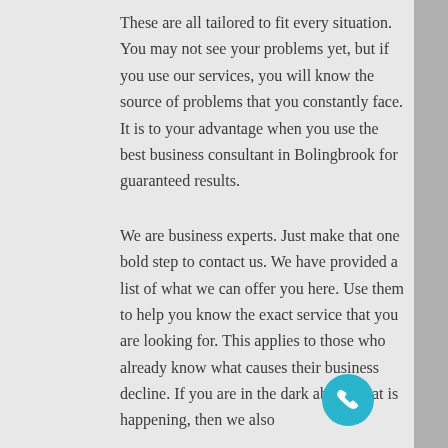These are all tailored to fit every situation. You may not see your problems yet, but if you use our services, you will know the source of problems that you constantly face. It is to your advantage when you use the best business consultant in Bolingbrook for guaranteed results.

We are business experts. Just make that one bold step to contact us. We have provided a list of what we can offer you here. Use them to help you know the exact service that you are looking for. This applies to those who already know what causes their business decline. If you are in the dark about what is happening, then we also